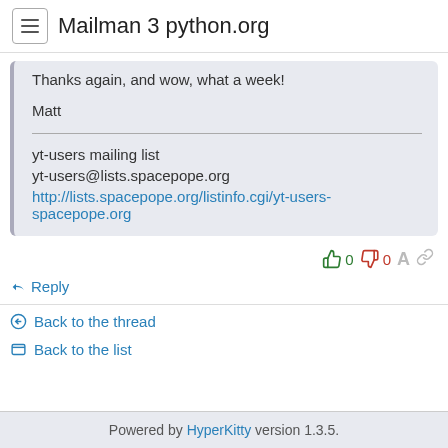Mailman 3 python.org
Thanks again, and wow, what a week!

Matt

yt-users mailing list
yt-users@lists.spacepope.org
http://lists.spacepope.org/listinfo.cgi/yt-users-spacepope.org
0  0
Reply
Back to the thread
Back to the list
Powered by HyperKitty version 1.3.5.